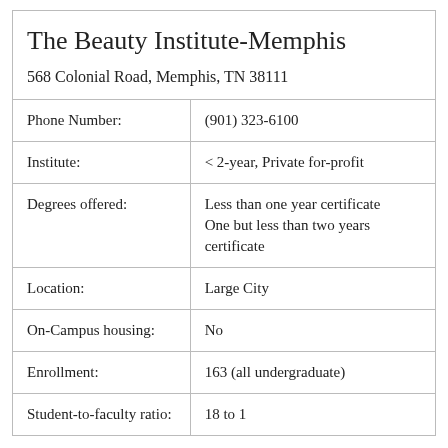| The Beauty Institute-Memphis
568 Colonial Road, Memphis, TN 38111 |  |
| Phone Number: | (901) 323-6100 |
| Institute: | < 2-year, Private for-profit |
| Degrees offered: | Less than one year certificate
One but less than two years certificate |
| Location: | Large City |
| On-Campus housing: | No |
| Enrollment: | 163 (all undergraduate) |
| Student-to-faculty ratio: | 18 to 1 |